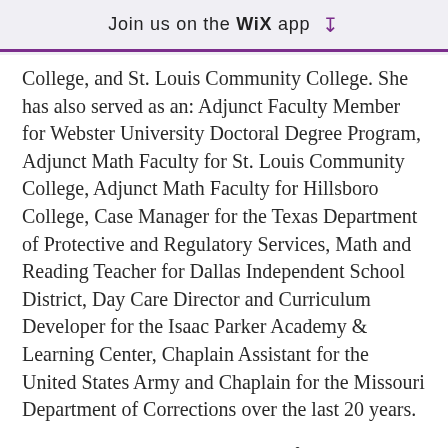Join us on the WiX app ↓
College, and St. Louis Community College. She has also served as an: Adjunct Faculty Member for Webster University Doctoral Degree Program, Adjunct Math Faculty for St. Louis Community College, Adjunct Math Faculty for Hillsboro College, Case Manager for the Texas Department of Protective and Regulatory Services, Math and Reading Teacher for Dallas Independent School District, Day Care Director and Curriculum Developer for the Isaac Parker Academy & Learning Center, Chaplain Assistant for the United States Army and Chaplain for the Missouri Department of Corrections over the last 20 years.
Dr. Hunn has earned a Bachelor of Arts in Criminal Justice and Sociology from St. Louis University, Masters of Theology in Systematic Theology from Logos Christian College, Masters of